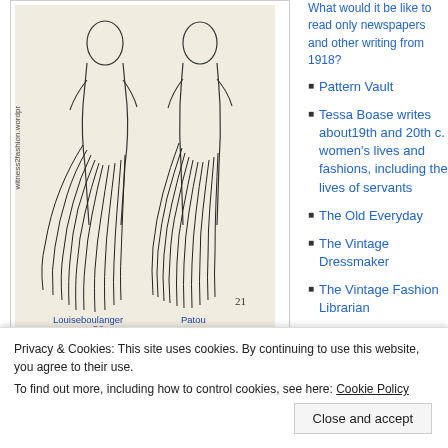[Figure (illustration): Black and white illustration showing two form-fitting gowns from 1929, labeled '20' and '21', with designer names 'Louiseboulanger' and 'Patou' written below each figure. Rotated watermark text 'witness2fashion.wordpr' visible on left side.]
November, 1929. Form fitting gowns from French designers Louiseboulanger and Jean Patou. The Delineator.
Makers of bosom-flattening brassieres — such
What would it be like to read only newspapers and other writing from 1918?
Pattern Vault
Tessa Boase writes about19th and 20th c. women's lives and fashions, including the lives of servants
The Old Everyday
The Vintage Dressmaker
The Vintage Fashion Librarian
Privacy & Cookies: This site uses cookies. By continuing to use this website, you agree to their use.
To find out more, including how to control cookies, see here: Cookie Policy
Close and accept